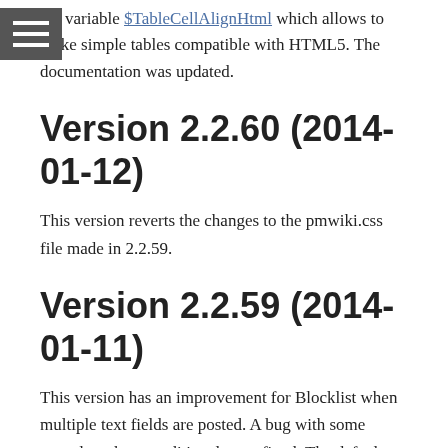the variable $TableCellAlignHtml which allows to make simple tables compatible with HTML5. The documentation was updated.
Version 2.2.60 (2014-01-12)
This version reverts the changes to the pmwiki.css file made in 2.2.59.
Version 2.2.59 (2014-01-11)
This version has an improvement for Blocklist when multiple text fields are posted. A bug with some nested markup conditionals was fixed. The default skin switched font sizes from points (fixed) to percents (relative). A couple of other minor bugs were fixed and the documentation was updated.
Version 2.2.58 (2013-12-25)